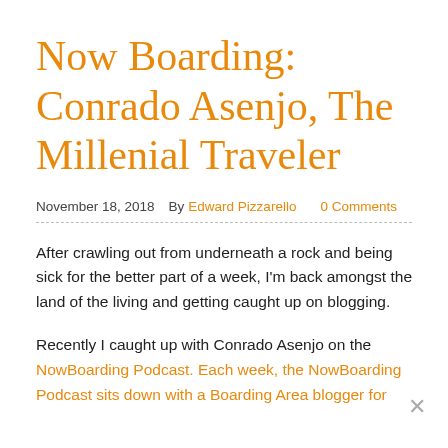Now Boarding: Conrado Asenjo, The Millenial Traveler
November 18, 2018   By Edward Pizzarello   0 Comments
After crawling out from underneath a rock and being sick for the better part of a week, I'm back amongst the land of the living and getting caught up on blogging.
Recently I caught up with Conrado Asenjo on the NowBoarding Podcast. Each week, the NowBoarding Podcast sits down with a Boarding Area blogger for an…